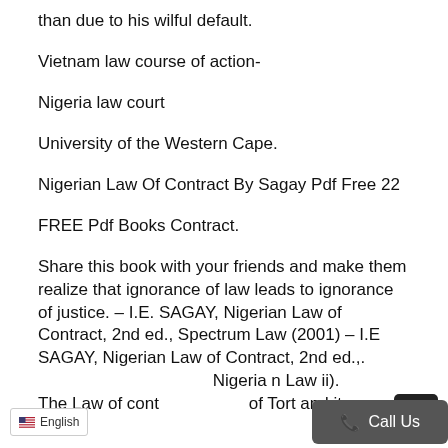than due to his wilful default.
Vietnam law course of action-
Nigeria law court
University of the Western Cape.
Nigerian Law Of Contract By Sagay Pdf Free 22
FREE Pdf Books Contract.
Share this book with your friends and make them realize that ignorance of law leads to ignorance of justice. – I.E. SAGAY, Nigerian Law of Contract, 2nd ed., Spectrum Law (2001) – I.E. SAGAY, Nigerian Law of Contract, 2nd ed.,. …Nigeria n Law ii). The Law of cont… …of Tort and its